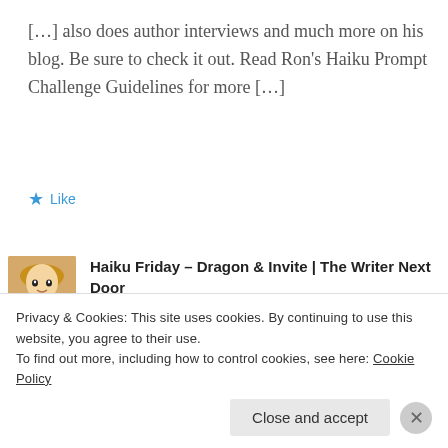[…] also does author interviews and much more on his blog. Be sure to check it out. Read Ron's Haiku Prompt Challenge Guidelines for more […]
★ Like
[Figure (photo): Avatar photo of a young blonde woman]
Haiku Friday – Dragon & Invite | The Writer Next Door
May 6, 2016 at 5:47 pm
Privacy & Cookies: This site uses cookies. By continuing to use this website, you agree to their use. To find out more, including how to control cookies, see here: Cookie Policy
Close and accept